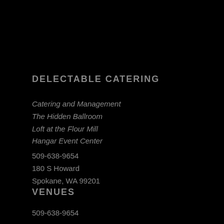DELECTABLE CATERING
Catering and Management
The Hidden Ballroom
Loft at the Flour Mill
Hangar Event Center
509-638-9654
180 S Howard
Spokane, WA 99201
VENUES
509-638-9654